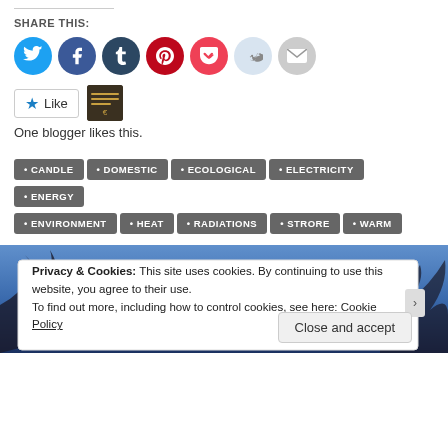SHARE THIS:
[Figure (illustration): Social sharing icons: Twitter (blue), Facebook (blue), Tumblr (dark navy), Pinterest (red), Pocket (red), Reddit (light blue/grey), Email (grey)]
[Figure (illustration): Like button with star icon and a blogger avatar thumbnail]
One blogger likes this.
CANDLE
DOMESTIC
ECOLOGICAL
ELECTRICITY
ENERGY
ENVIRONMENT
HEAT
RADIATIONS
STRORE
WARM
[Figure (photo): Background photo of bare tree branches against a blue sky]
Privacy & Cookies: This site uses cookies. By continuing to use this website, you agree to their use.
To find out more, including how to control cookies, see here: Cookie Policy